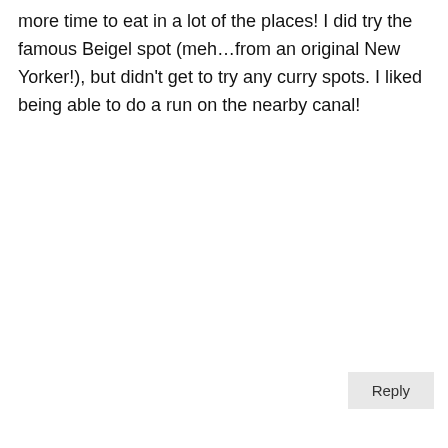more time to eat in a lot of the places! I did try the famous Beigel spot (meh…from an original New Yorker!), but didn't get to try any curry spots. I liked being able to do a run on the nearby canal!
Reply
Mike Robinson
July 12, 2016 at 10:54 am
Yeah, Beigel place is a remnant from when the area had lots of Jewish residents and is now nothing special. There are far better currys to be had in